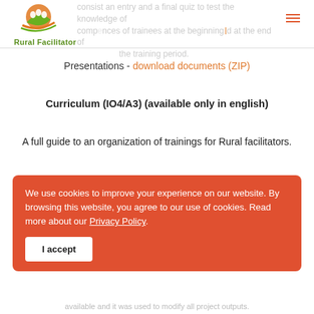Rural Facilitator
consist an entry and a final quiz to test the knowledge of competences of trainees at the beginning and at the end of the training period.
Presentations - download documents (ZIP)
Curriculum (IO4/A3) (available only in english)
A full guide to an organization of trainings for Rural facilitators.
We use cookies to improve your experience on our website. By browsing this website, you agree to our use of cookies. Read more about our Privacy Policy. I accept
available and it was used to modify all project outputs.